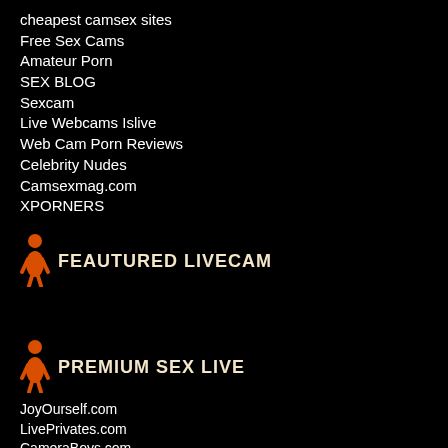cheapest camsex sites
Free Sex Cams
Amateur Porn
SEX BLOG
Sexcam
Live Webcams Islive
Web Cam Porn Reviews
Celebrity Nudes
Camsexmag.com
XPORNERS
FEAUTURED LIVECAM
PREMIUM SEX LIVE
JoyOurself.com
LivePrivates.com
CameraBoys.com